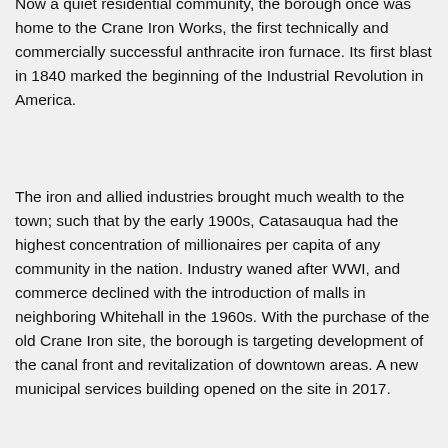Now a quiet residential community, the borough once was home to the Crane Iron Works, the first technically and commercially successful anthracite iron furnace. Its first blast in 1840 marked the beginning of the Industrial Revolution in America.
The iron and allied industries brought much wealth to the town; such that by the early 1900s, Catasauqua had the highest concentration of millionaires per capita of any community in the nation. Industry waned after WWI, and commerce declined with the introduction of malls in neighboring Whitehall in the 1960s. With the purchase of the old Crane Iron site, the borough is targeting development of the canal front and revitalization of downtown areas. A new municipal services building opened on the site in 2017.